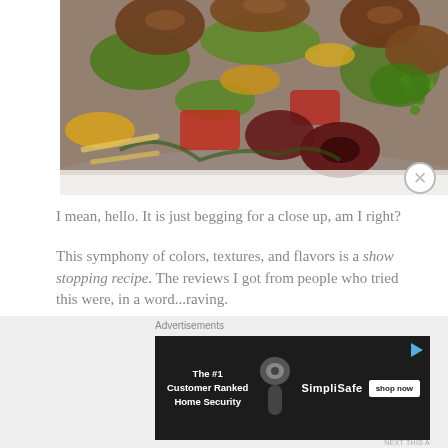[Figure (photo): Close-up photo of a colorful cooked dish with mushrooms, peppers, broccoli, peas, and green pesto sauce on a white plate]
I mean, hello. It is just begging for a close up, am I right?
This symphony of colors, textures, and flavors is a show stopping recipe. The reviews I got from people who tried this were, in a word...raving.
Advertisements
[Figure (screenshot): SimpliSafe advertisement banner: The #1 Customer Ranked Home Security with shop now button]